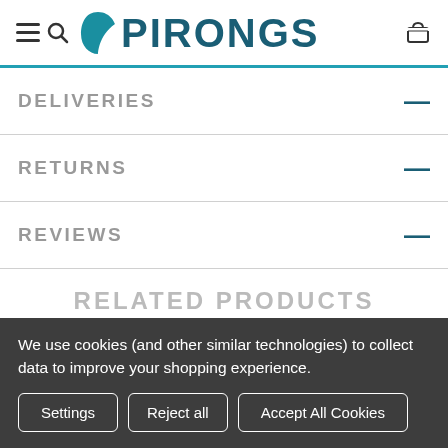PIRONGS – website header with menu, search, logo, and cart icons
DELIVERIES
RETURNS
REVIEWS
RELATED PRODUCTS
We use cookies (and other similar technologies) to collect data to improve your shopping experience.
Settings
Reject all
Accept All Cookies